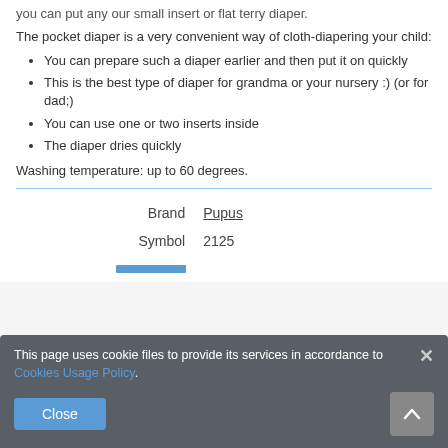you can put any our small insert or flat terry diaper.
The pocket diaper is a very convenient way of cloth-diapering your child:
You can prepare such a diaper earlier and then put it on quickly
This is the best type of diaper for grandma or your nursery :) (or for dad;)
You can use one or two inserts inside
The diaper dries quickly
Washing temperature: up to 60 degrees.
|  |  |
| --- | --- |
| Brand | Pupus |
| Symbol | 2125 |
This page uses cookie files to provide its services in accordance to Cookies Usage Policy.